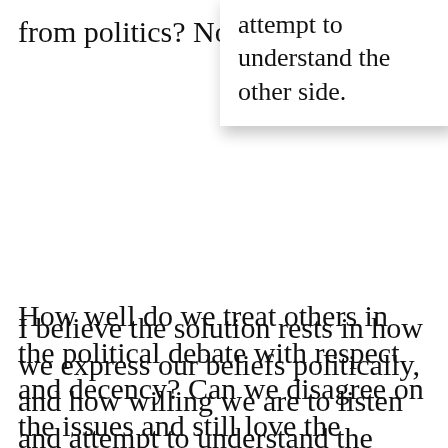from politics? No!
[Figure (other): Pull quote box with shadow: 'attempt to understand the other side.']
I believe the solution rests in how we express our beliefs politically, and how willing we are to listen and attempt to understand the other side, and how willing we are to work together.
How well do we treat others in the political debate with respect and decency? Can we disagree on the issues and still love the persons involved in the discussions? When does it become more